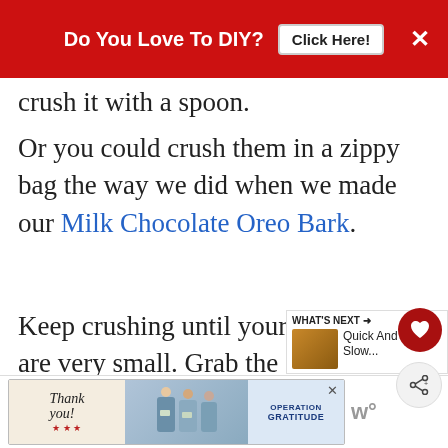[Figure (screenshot): Red banner advertisement: 'Do You Love To DIY? Click Here!' with X close button]
crush it with a spoon.
Or you could crush them in a zippy bag the way we did when we made our Milk Chocolate Oreo Bark.
Keep crushing until your pieces are very small. Grab the Oreo crumbs and mix them into the vanilla frosting to make Oreo flavored frosting.
[Figure (screenshot): Bottom advertisement banner: Operation Gratitude 'Thank you' with healthcare workers photo]
[Figure (infographic): What's Next widget: Quick And Easy Slow... with food thumbnail]